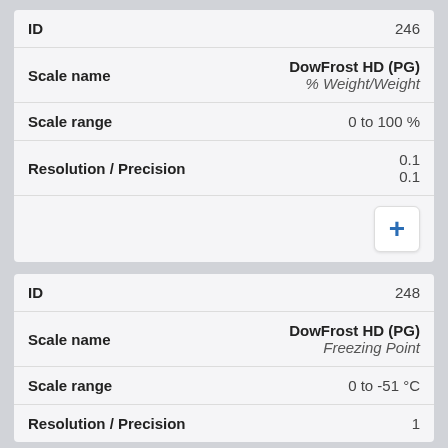| Field | Value |
| --- | --- |
| ID | 246 |
| Scale name | DowFrost HD (PG)
% Weight/Weight |
| Scale range | 0 to 100 % |
| Resolution / Precision | 0.1
0.1 |
|  | + |
| Field | Value |
| --- | --- |
| ID | 248 |
| Scale name | DowFrost HD (PG)
Freezing Point |
| Scale range | 0 to -51 °C |
| Resolution / Precision | 1 |